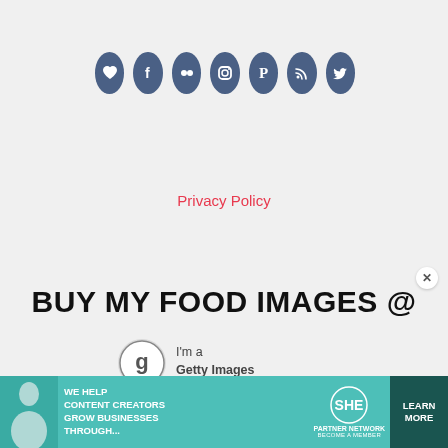[Figure (infographic): Row of 7 social media icon circles (heart/Bloglovin, Facebook, Flickr, Instagram, Pinterest, RSS, Twitter) in dark slate blue color]
Privacy Policy
BUY MY FOOD IMAGES @
[Figure (logo): Getty Images Artist badge - circular G logo with medal ribbon and text: I'm a Getty Images Artist]
[Figure (infographic): Advertisement banner: WE HELP CONTENT CREATORS GROW BUSINESSES THROUGH... SHE PARTNER NETWORK BECOME A MEMBER, with LEARN MORE button]